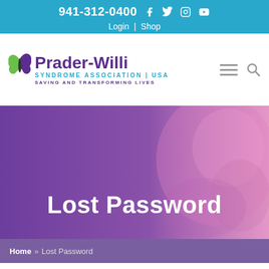941-312-0400  Login | Shop
[Figure (logo): Prader-Willi Syndrome Association | USA logo with butterfly icon and tagline 'Saving and Transforming Lives']
Lost Password
Home » Lost Password